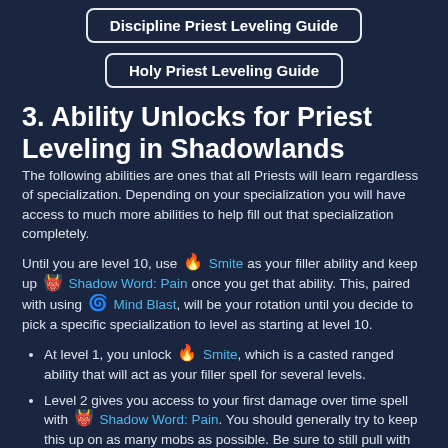Discipline Priest Leveling Guide
Holy Priest Leveling Guide
3. Ability Unlocks for Priest Leveling in Shadowlands
The following abilities are ones that all Priests will learn regardless of specialization. Depending on your specialization you will have access to much more abilities to help fill out that specialization completely.
Until you are level 10, use Smite as your filler ability and keep up Shadow Word: Pain once you get that ability. This, paired with using Mind Blast, will be your rotation until you decide to pick a specific specialization to level as starting at level 10.
At level 1, you unlock Smite, which is a casted ranged ability that will act as your filler spell for several levels.
Level 2 gives you access to your first damage over time spell with Shadow Word: Pain. You should generally try to keep this up on as many mobs as possible. Be sure to still pull with